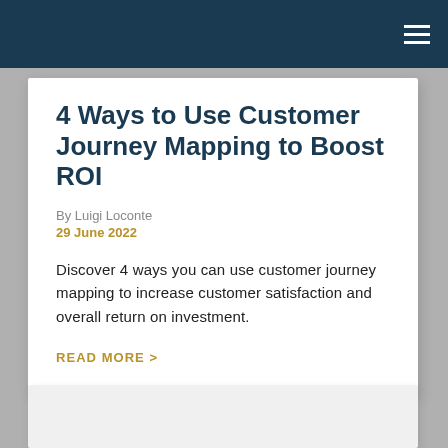Navigation bar with hamburger menu
4 Ways to Use Customer Journey Mapping to Boost ROI
By Luigi Loconte
29 June 2022
Discover 4 ways you can use customer journey mapping to increase customer satisfaction and overall return on investment.
READ MORE >